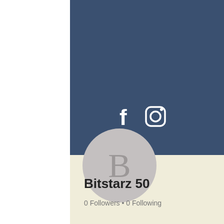[Figure (screenshot): Social media profile page screenshot showing a dark blue banner header with Facebook and Instagram icons, a hamburger menu button, a circular avatar with letter B, a Follow button, a three-dot menu, the username Bitstarz 50, and follower/following counts on a cream background.]
Bitstarz 50
0 Followers • 0 Following